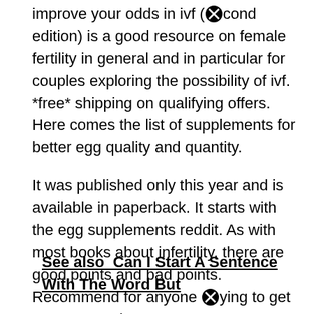improve your odds in ivf (⊗cond edition) is a good resource on female fertility in general and in particular for couples exploring the possibility of ivf. *free* shipping on qualifying offers. Here comes the list of supplements for better egg quality and quantity.
It was published only this year and is available in paperback. It starts with the egg supplements reddit. As with most books about infertility, there are good points and bad points.
See also  Can I Start A Sentence With The Word But
Recommend for anyone ⊗ying to get pregnant and